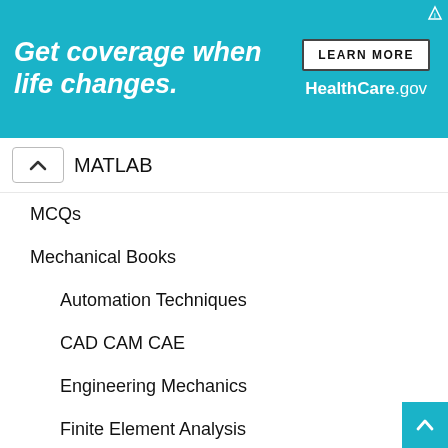[Figure (other): Healthcare.gov advertisement banner with teal background. Text: 'Get coverage when life changes.' with LEARN MORE button and HealthCare.gov logo.]
MATLAB
MCQs
Mechanical Books
Automation Techniques
CAD CAM CAE
Engineering Mechanics
Finite Element Analysis
Fluid Mechanics
Heat Transfer
IC Engine
Machine Design
Material Science
Mechanical MCQs